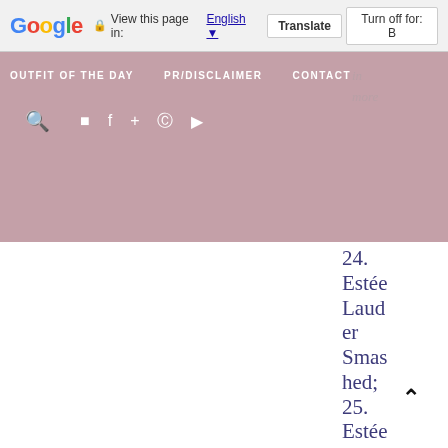Google Translate bar: View this page in: English [Translate] [Turn off for: B]
OUTFIT OF THE DAY   PR/DISCLAIMER   CONTACT
24. Estée Lauder Smashed; 25. Estée Lauder Insat